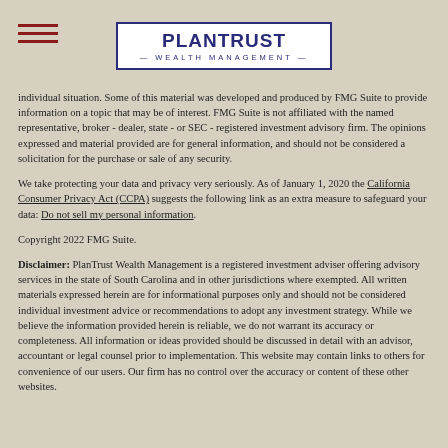PlanTrust Wealth Management
individual situation. Some of this material was developed and produced by FMG Suite to provide information on a topic that may be of interest. FMG Suite is not affiliated with the named representative, broker - dealer, state - or SEC - registered investment advisory firm. The opinions expressed and material provided are for general information, and should not be considered a solicitation for the purchase or sale of any security.
We take protecting your data and privacy very seriously. As of January 1, 2020 the California Consumer Privacy Act (CCPA) suggests the following link as an extra measure to safeguard your data: Do not sell my personal information.
Copyright 2022 FMG Suite.
Disclaimer: PlanTrust Wealth Management is a registered investment adviser offering advisory services in the state of South Carolina and in other jurisdictions where exempted. All written materials expressed herein are for informational purposes only and should not be considered individual investment advice or recommendations to adopt any investment strategy. While we believe the information provided herein is reliable, we do not warrant its accuracy or completeness. All information or ideas provided should be discussed in detail with an advisor, accountant or legal counsel prior to implementation. This website may contain links to others for convenience of our users. Our firm has no control over the accuracy or content of these other websites.